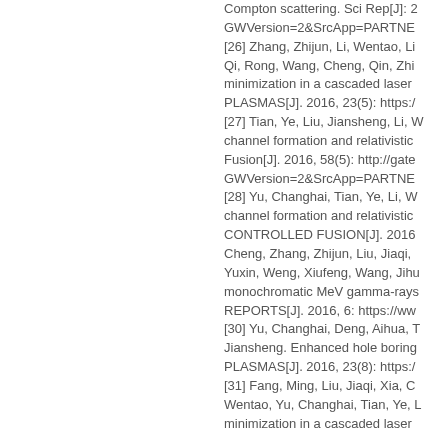Compton scattering. Sci Rep[J]. 2... GWVersion=2&SrcApp=PARTNE... [26] Zhang, Zhijun, Li, Wentao, Li... Qi, Rong, Wang, Cheng, Qin, Zhi... minimization in a cascaded laser... PLASMAS[J]. 2016, 23(5): https:/... [27] Tian, Ye, Liu, Jiansheng, Li, W... channel formation and relativistic... Fusion[J]. 2016, 58(5): http://gate... GWVersion=2&SrcApp=PARTNE... [28] Yu, Changhai, Tian, Ye, Li, W... channel formation and relativistic... CONTROLLED FUSION[J]. 2016... Cheng, Zhang, Zhijun, Liu, Jiaqi,... Yuxin, Weng, Xiufeng, Wang, Jihu... monochromatic MeV gamma-rays... REPORTS[J]. 2016, 6: https://www... [30] Yu, Changhai, Deng, Aihua, T... Jiansheng. Enhanced hole boring... PLASMAS[J]. 2016, 23(8): https:/... [31] Fang, Ming, Liu, Jiaqi, Xia, C... Wentao, Yu, Changhai, Tian, Ye, L... minimization in a cascaded laser...